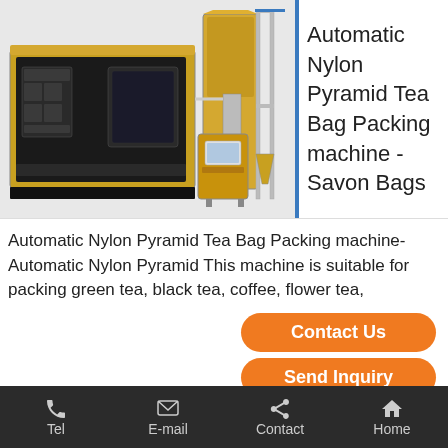[Figure (photo): Industrial machine - large yellow and black packaging machine with a separate tall vertical component and control panel]
Automatic Nylon Pyramid Tea Bag Packing machine - Savon Bags
Automatic Nylon Pyramid Tea Bag Packing machine-Automatic Nylon Pyramid This machine is suitable for packing green tea, black tea, coffee, flower tea,
Contact Us
Send Inquiry
[Figure (photo): Small preview image of a packaging machine]
Triangle nylon
Tel  E-mail  Contact  Home